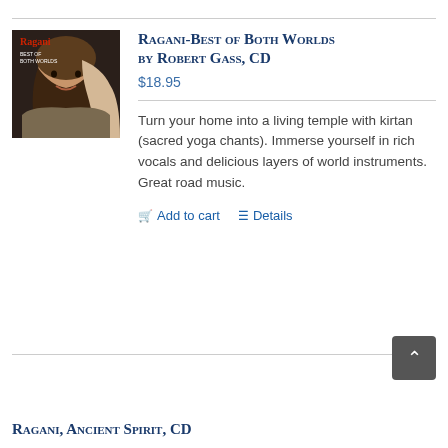[Figure (photo): Album cover photo of Ragani - Best of Both Worlds, showing a woman smiling with hair partially covered, with 'Ragani' text in red on the cover]
Ragani-Best of Both Worlds by Robert Gass, CD
$18.95
Turn your home into a living temple with kirtan (sacred yoga chants). Immerse yourself in rich vocals and delicious layers of world instruments. Great road music.
Add to cart   Details
Ragani, Ancient Spirit, CD